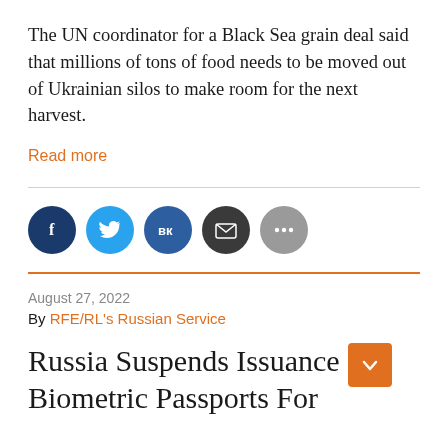The UN coordinator for a Black Sea grain deal said that millions of tons of food needs to be moved out of Ukrainian silos to make room for the next harvest.
Read more
[Figure (infographic): Social media share icons: Facebook (dark blue), Twitter (light blue), VK (dark blue), Email (dark gray), More (gray)]
August 27, 2022
By RFE/RL's Russian Service
Russia Suspends Issuance Of Biometric Passports For